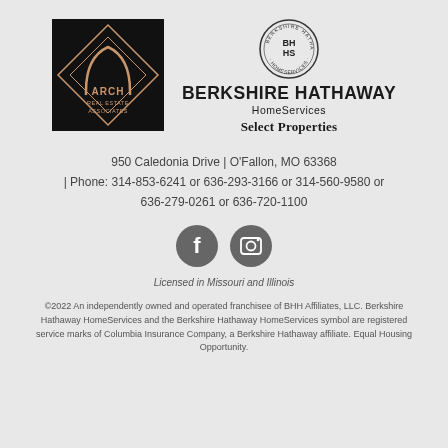[Figure (logo): Arch Real Estate Associates logo — black square with rose-gold geometric arch and diamond shape, text ARCH REAL ESTATE ASSOCIATES]
[Figure (logo): Berkshire Hathaway HomeServices circular badge with BH HS text, and company name BERKSHIRE HATHAWAY HomeServices Select Properties]
950 Caledonia Drive | O'Fallon, MO 63368
| Phone: 314-853-6241 or 636-293-3166 or 314-560-9580 or 636-279-0261 or 636-720-1100
[Figure (illustration): Facebook and Instagram social media icons — two grey circles with white F and camera icons]
Licensed in Missouri and Illinois
©2022 An independently owned and operated franchisee of BHH Affiliates, LLC. Berkshire Hathaway HomeServices and the Berkshire Hathaway HomeServices symbol are registered service marks of Columbia Insurance Company, a Berkshire Hathaway affiliate. Equal Housing Opportunity.